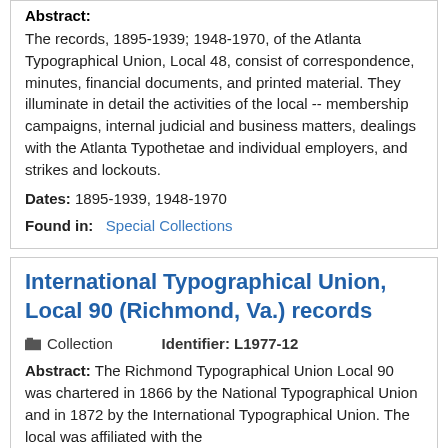Abstract:
The records, 1895-1939; 1948-1970, of the Atlanta Typographical Union, Local 48, consist of correspondence, minutes, financial documents, and printed material. They illuminate in detail the activities of the local -- membership campaigns, internal judicial and business matters, dealings with the Atlanta Typothetae and individual employers, and strikes and lockouts.
Dates: 1895-1939, 1948-1970
Found in: Special Collections
International Typographical Union, Local 90 (Richmond, Va.) records
Collection    Identifier: L1977-12
Abstract: The Richmond Typographical Union Local 90 was chartered in 1866 by the National Typographical Union and in 1872 by the International Typographical Union. The local was affiliated with the